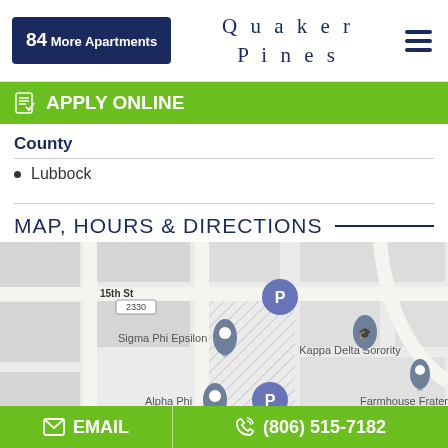84 More Apartments | Quaker Pines
APPLY ONLINE
County
Lubbock
MAP, HOURS & DIRECTIONS
[Figure (map): Street map showing 15th St area near Sigma Phi Epsilon, Kappa Delta Sorority, Alpha Phi, Farmhouse Fraternity Texas Tech Chapter, with parking markers (P) and location pins.]
EMAIL | (806) 515-7182